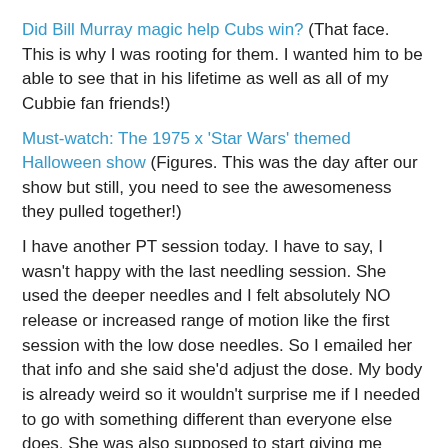Did Bill Murray magic help Cubs win?  (That face.  This is why I was rooting for them.  I wanted him to be able to see that in his lifetime as well as all of my Cubbie fan friends!)
Must-watch: The 1975 x 'Star Wars' themed Halloween show  (Figures.  This was the day after our show but still, you need to see the awesomeness they pulled together!)
I have another PT session today.  I have to say, I wasn't happy with the last needling session.  She used the deeper needles and I felt absolutely NO release or increased range of motion like the first session with the low dose needles.  So I emailed her that info and she said she'd adjust the dose.  My body is already weird so it wouldn't surprise me if I needed to go with something different than everyone else does.  She was also supposed to start giving me exercises to do this time as well but maybe that'll change since I told her I got no relief last time, who knows.   I have been throwing the clamshells in there anyway because I overheard another therapist tell a patient it will take 4-6 weeks to see results from those.  Well, that's about the time I